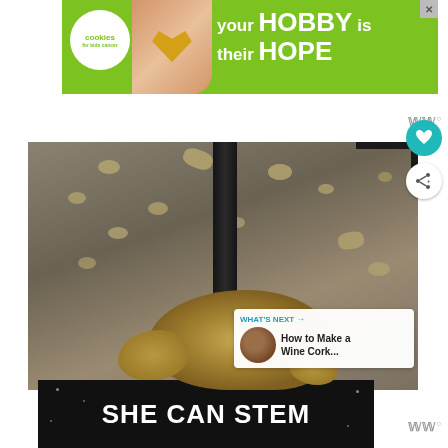[Figure (photo): Advertisement banner: green background with cookies for kids cancer logo, hands holding a heart cookie, text 'your HOBBY is their HOPE']
[Figure (photo): Close-up photo of ginger root being harvested with a garden tool, showing soil and plant debris on ground]
[Figure (photo): What's Next thumbnail panel showing wine cork craft project]
[Figure (photo): Bottom advertisement with dark background and text 'SHE CAN STEM']